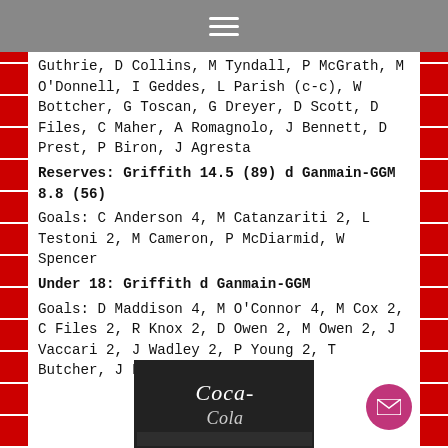≡
Guthrie, D Collins, M Tyndall, P McGrath, M O'Donnell, I Geddes, L Parish (c-c), W Bottcher, G Toscan, G Dreyer, D Scott, D Files, C Maher, A Romagnolo, J Bennett, D Prest, P Biron, J Agresta
Reserves: Griffith 14.5 (89) d Ganmain-GGM 8.8 (56)
Goals: C Anderson 4, M Catanzariti 2, L Testoni 2, M Cameron, P McDiarmid, W Spencer
Under 18: Griffith d Ganmain-GGM
Goals: D Maddison 4, M O'Connor 4, M Cox 2, C Files 2, R Knox 2, D Owen 2, M Owen 2, J Vaccari 2, J Wadley 2, P Young 2, T Butcher, J Latham, S Young
[Figure (photo): Black and white photograph, appears to show a Coca-Cola branded image or signage]